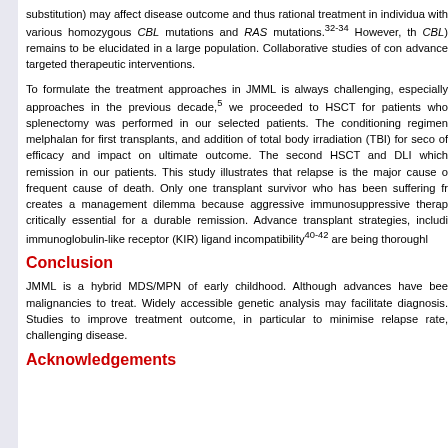substitution) may affect disease outcome and thus rational treatment in individuals with various homozygous CBL mutations and RAS mutations.32-34 However, the CBL) remains to be elucidated in a large population. Collaborative studies of con advance targeted therapeutic interventions.
To formulate the treatment approaches in JMML is always challenging, especially approaches in the previous decade,5 we proceeded to HSCT for patients who splenectomy was performed in our selected patients. The conditioning regimen melphalan for first transplants, and addition of total body irradiation (TBI) for seco of efficacy and impact on ultimate outcome. The second HSCT and DLI which remission in our patients. This study illustrates that relapse is the major cause frequent cause of death. Only one transplant survivor who has been suffering fr creates a management dilemma because aggressive immunosuppressive thera critically essential for a durable remission. Advance transplant strategies, includi immunoglobulin-like receptor (KIR) ligand incompatibility40-42 are being thoroughly
Conclusion
JMML is a hybrid MDS/MPN of early childhood. Although advances have bee malignancies to treat. Widely accessible genetic analysis may facilitate diagnosis. Studies to improve treatment outcome, in particular to minimise relapse rate, challenging disease.
Acknowledgements